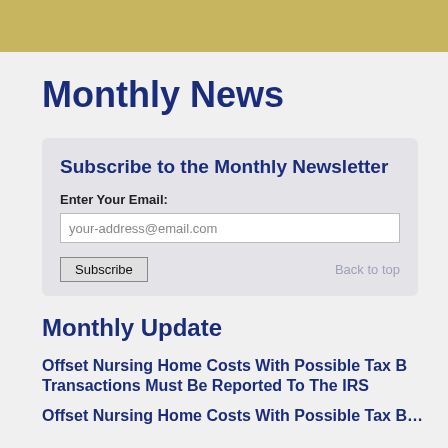Monthly News
Subscribe to the Monthly Newsletter
Enter Your Email:
your-address@email.com
Subscribe
Back to top
Monthly Update
Offset Nursing Home Costs With Possible Tax B… Transactions Must Be Reported To The IRS
Offset Nursing Home Costs With Possible Tax B…